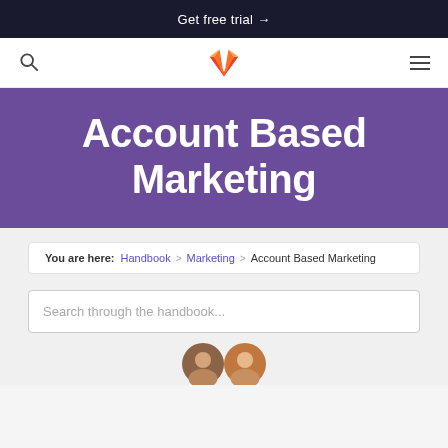Get free trial →
[Figure (logo): GitLab fox logo in orange/red]
Account Based Marketing
You are here: Handbook > Marketing > Account Based Marketing
Search through the handbook...
[Figure (photo): Partial view of two avatar/profile images at bottom of page]